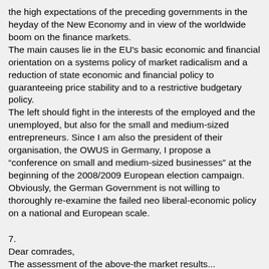the high expectations of the preceding governments in the heyday of the New Economy and in view of the worldwide boom on the finance markets.
The main causes lie in the EU's basic economic and financial orientation on a systems policy of market radicalism and a reduction of state economic and financial policy to guaranteeing price stability and to a restrictive budgetary policy.
The left should fight in the interests of the employed and the unemployed, but also for the small and medium-sized entrepreneurs. Since I am also the president of their organisation, the OWUS in Germany, I propose a “conference on small and medium-sized businesses” at the beginning of the 2008/2009 European election campaign.
Obviously, the German Government is not willing to thoroughly re-examine the failed neo liberal-economic policy on a national and European scale.
7.
Dear comrades,
The assessment of the above-the market results...